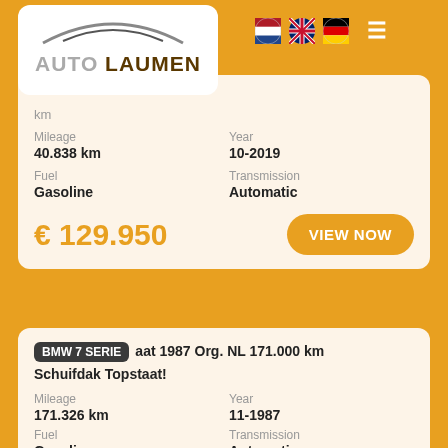[Figure (logo): Auto Laumen car dealership logo with car silhouette arc above text]
[Figure (other): Navigation header with Dutch, UK, German flags and hamburger menu icon]
Mileage 40.838 km | Year 10-2019 | Fuel Gasoline | Transmission Automatic
€ 129.950
VIEW NOW
BMW 7 SERIE aat 1987 Org. NL 171.000 km Schuifdak Topstaat!
Mileage 171.326 km | Year 11-1987 | Fuel Gasoline | Transmission Automatic